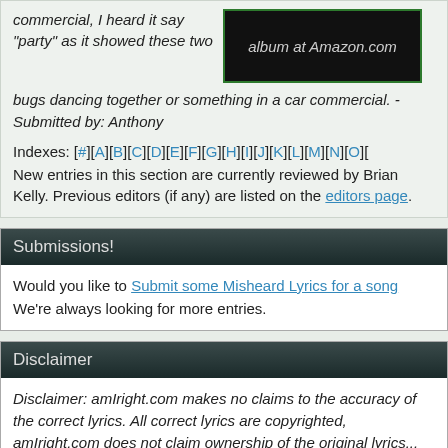commercial, I heard it say "party" as it showed these two bugs dancing together or something in a car commercial. - Submitted by: Anthony
[Figure (other): Black box with green border showing text 'album at Amazon.com' in italic gray text]
Indexes: [#][A][B][C][D][E][F][G][H][I][J][K][L][M][N][O][...
New entries in this section are currently reviewed by Brian Kelly. Previous editors (if any) are listed on the editors page.
Submissions!
Would you like to Submit some Misheard Lyrics for a song We're always looking for more entries.
Disclaimer
Disclaimer: amIright.com makes no claims to the accuracy of the correct lyrics. All correct lyrics are copyrighted, amIright.com does not claim ownership of the original lyrics...